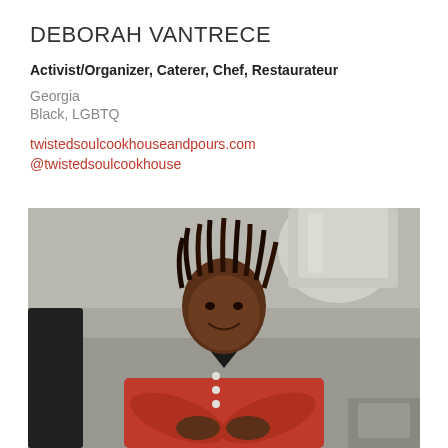DEBORAH VANTRECE
Activist/Organizer, Caterer, Chef, Restaurateur
Georgia
Black, LGBTQ
twistedsoulcookhouseandpours.com
@twistedsoulcookhouse
[Figure (photo): A Black woman with short dreadlocks wearing a red chef's coat, standing with arms crossed in a commercial kitchen, smiling at the camera. Industrial kitchen equipment and ductwork visible in the background.]